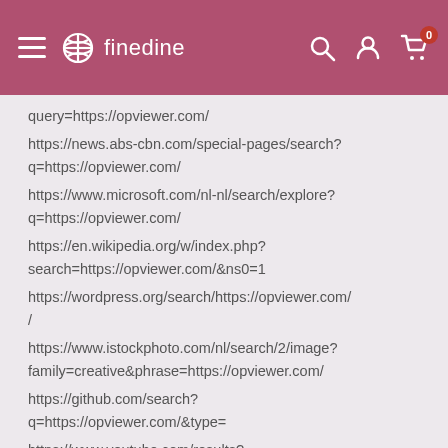finedine
query=https://opviewer.com/
https://news.abs-cbn.com/special-pages/search?q=https://opviewer.com/
https://www.microsoft.com/nl-nl/search/explore?q=https://opviewer.com/
https://en.wikipedia.org/w/index.php?search=https://opviewer.com/&ns0=1
https://wordpress.org/search/https://opviewer.com/
https://www.istockphoto.com/nl/search/2/image?family=creative&phrase=https://opviewer.com/
https://github.com/search?q=https://opviewer.com/&type=
https://www.youtube.com/results?